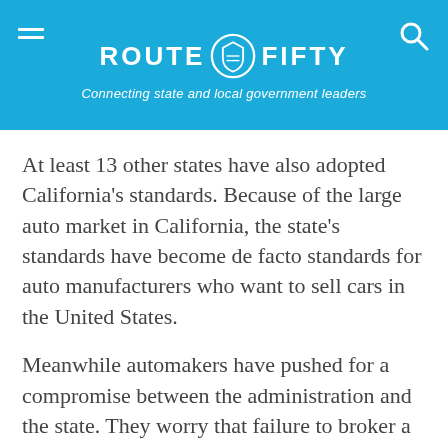ROUTE FIFTY — Connecting state and local government leaders
At least 13 other states have also adopted California's standards. Because of the large auto market in California, the state's standards have become de facto standards for auto manufacturers who want to sell cars in the United States.
Meanwhile automakers have pushed for a compromise between the administration and the state. They worry that failure to broker a compromise will create uncertainty and vulnerability in the industry.